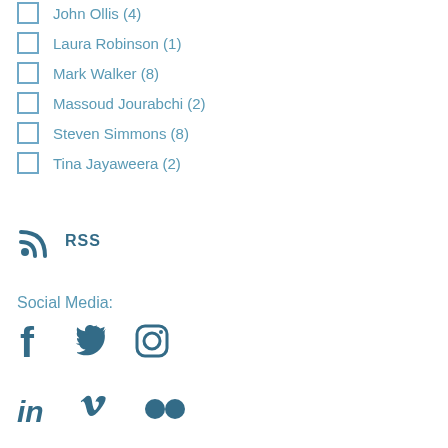John Ollis (4)
Laura Robinson (1)
Mark Walker (8)
Massoud Jourabchi (2)
Steven Simmons (8)
Tina Jayaweera (2)
[Figure (infographic): RSS feed icon with RSS text label]
Social Media:
[Figure (infographic): Social media icons: Facebook, Twitter, Instagram, LinkedIn, Vimeo, Flickr]